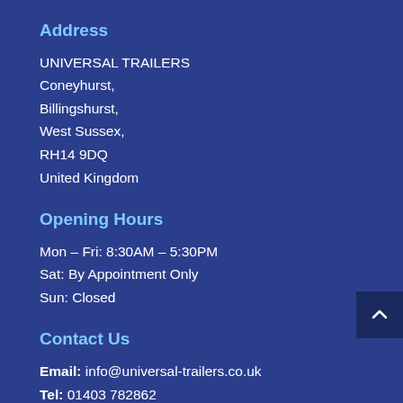Address
UNIVERSAL TRAILERS
Coneyhurst,
Billingshurst,
West Sussex,
RH14 9DQ
United Kingdom
Opening Hours
Mon – Fri: 8:30AM – 5:30PM
Sat: By Appointment Only
Sun: Closed
Contact Us
Email: info@universal-trailers.co.uk
Tel: 01403 782862